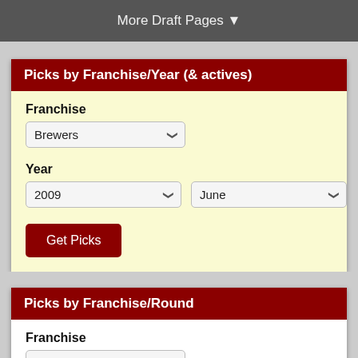More Draft Pages ▼
Picks by Franchise/Year (& actives)
Franchise
Brewers
Year
2009
June
Get Picks
Picks by Franchise/Round
Franchise
Brewers
Round #
1
June